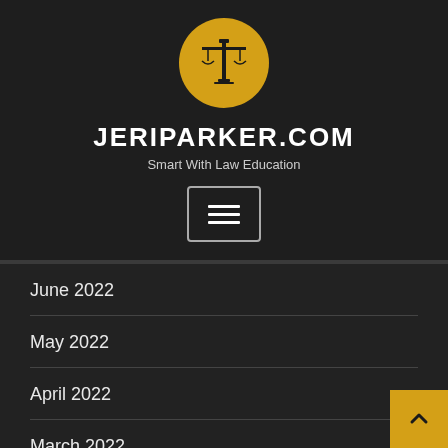[Figure (logo): Gold circle with black scales of justice icon — jeriparker.com logo]
JERIPARKER.COM
Smart With Law Education
[Figure (other): Hamburger menu button — three horizontal white lines in a rounded rectangle border]
June 2022
May 2022
April 2022
March 2022
February 2022